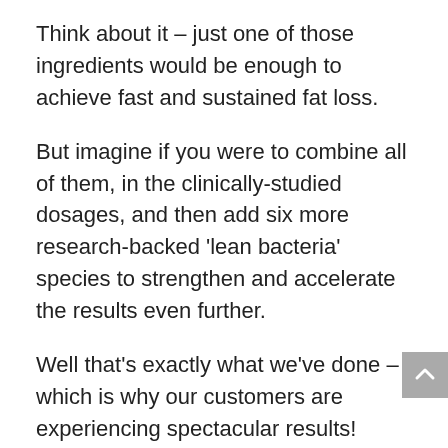Think about it – just one of those ingredients would be enough to achieve fast and sustained fat loss.
But imagine if you were to combine all of them, in the clinically-studied dosages, and then add six more research-backed 'lean bacteria' species to strengthen and accelerate the results even further.
Well that's exactly what we've done – which is why our customers are experiencing spectacular results!
And this is your chance to join them, so you can become naturally lean too.
The nine clinically-researched lean bacteria species